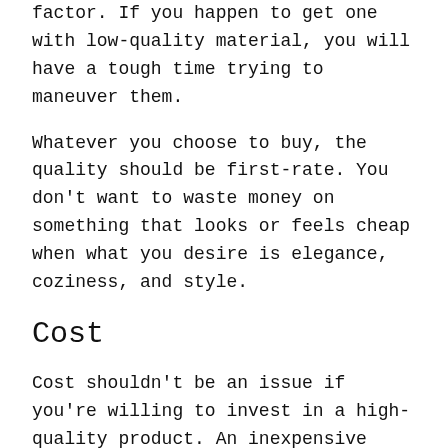factor. If you happen to get one with low-quality material, you will have a tough time trying to maneuver them.
Whatever you choose to buy, the quality should be first-rate. You don't want to waste money on something that looks or feels cheap when what you desire is elegance, coziness, and style.
Cost
Cost shouldn't be an issue if you're willing to invest in a high-quality product. An inexpensive product often has great features, so you get great value for your money.
However, expensive products don't necessarily